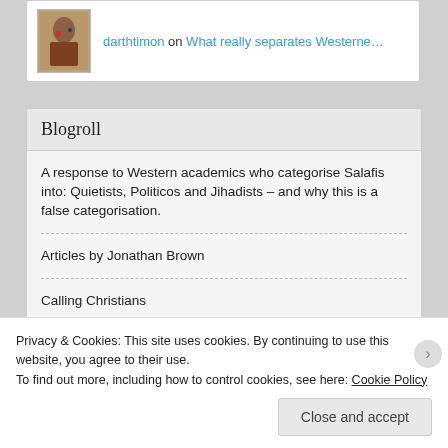darthtimon on What really separates Westerne…
Blogroll
A response to Western academics who categorise Salafis into: Quietists, Politicos and Jihadists – and why this is a false categorisation.
Articles by Jonathan Brown
Calling Christians
Discover The Truth
How Jesus Became God
Privacy & Cookies: This site uses cookies. By continuing to use this website, you agree to their use.
To find out more, including how to control cookies, see here: Cookie Policy
Close and accept